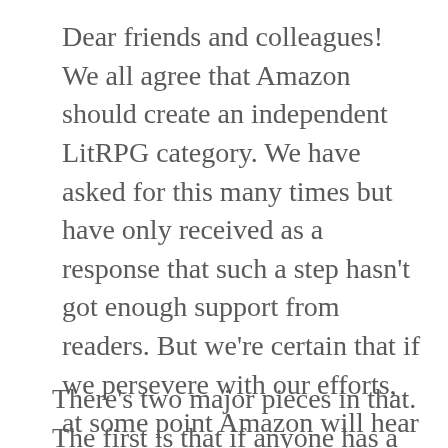Dear friends and colleagues! We all agree that Amazon should create an independent LitRPG category. We have asked for this many times but have only received as a response that such a step hasn't got enough support from readers. But we're certain that if we persevere with our efforts, at some point Amazon will hear us. So please find some time to send a letter to their customer service in order to bring this subject back to the table.
There's two major pieces in that.  The first is that if anyone has a legitimate claim to the title, it would